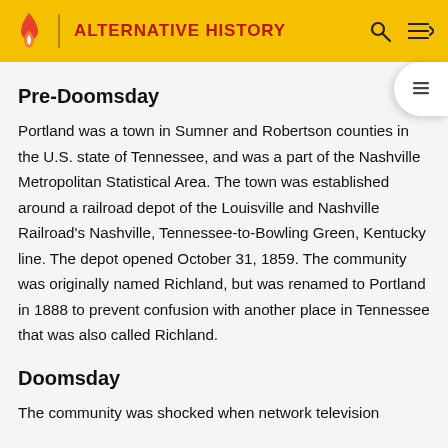ALTERNATIVE HISTORY
Pre-Doomsday
Portland was a town in Sumner and Robertson counties in the U.S. state of Tennessee, and was a part of the Nashville Metropolitan Statistical Area. The town was established around a railroad depot of the Louisville and Nashville Railroad's Nashville, Tennessee-to-Bowling Green, Kentucky line. The depot opened October 31, 1859. The community was originally named Richland, but was renamed to Portland in 1888 to prevent confusion with another place in Tennessee that was also called Richland.
Doomsday
The community was shocked when network television